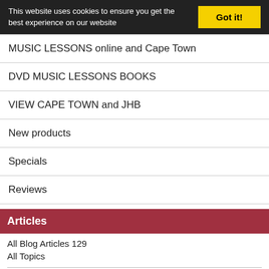This website uses cookies to ensure you get the best experience on our website
Got it!
MUSIC LESSONS online and Cape Town
DVD MUSIC LESSONS BOOKS
VIEW CAPE TOWN and JHB
New products
Specials
Reviews
Articles
All Blog Articles 129
All Topics
New Articles
Search Our Articles
Enter Keywords Here